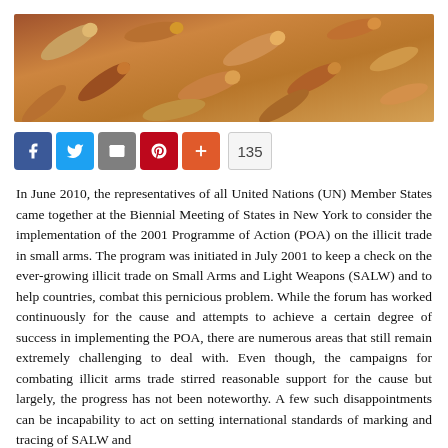[Figure (photo): Close-up photograph of multiple copper/brass bullet projectiles piled together]
[Figure (infographic): Social media sharing buttons: Facebook (blue), Twitter (blue), Email (grey), Pinterest (red), Plus (orange-red), and a share count of 135]
In June 2010, the representatives of all United Nations (UN) Member States came together at the Biennial Meeting of States in New York to consider the implementation of the 2001 Programme of Action (POA) on the illicit trade in small arms. The program was initiated in July 2001 to keep a check on the ever-growing illicit trade on Small Arms and Light Weapons (SALW) and to help countries, combat this pernicious problem. While the forum has worked continuously for the cause and attempts to achieve a certain degree of success in implementing the POA, there are numerous areas that still remain extremely challenging to deal with. Even though, the campaigns for combating illicit arms trade stirred reasonable support for the cause but largely, the progress has not been noteworthy. A few such disappointments can be incapability to act on setting international standards of marking and tracing of SALW and